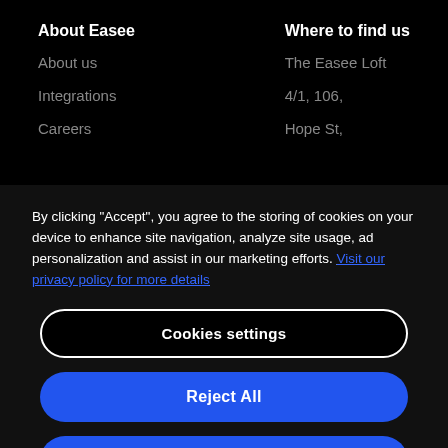About Easee
About us
Integrations
Careers
Where to find us
The Easee Loft
4/1, 106,
Hope St,
By clicking “Accept”, you agree to the storing of cookies on your device to enhance site navigation, analyze site usage, ad personalization and assist in our marketing efforts. Visit our privacy policy for more details
Cookies settings
Reject All
Accept